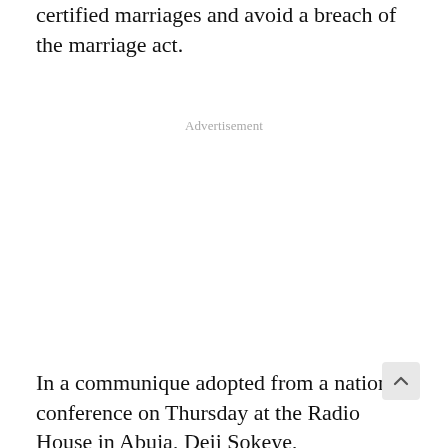certified marriages and avoid a breach of the marriage act.
Advertisement
In a communique adopted from a national conference on Thursday at the Radio House in Abuja, Deji Sokeye,